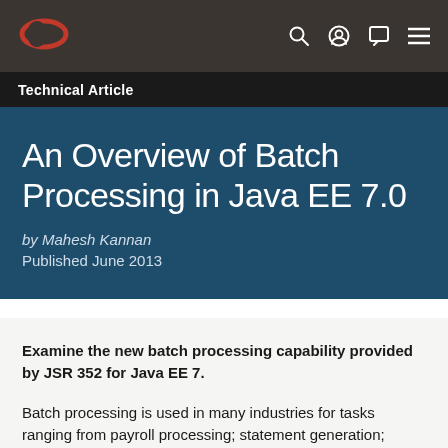[Figure (logo): Oracle logo in red on dark navigation bar with search, user, chat, and menu icons]
Technical Article
An Overview of Batch Processing in Java EE 7.0
by Mahesh Kannan
Published June 2013
Examine the new batch processing capability provided by JSR 352 for Java EE 7.
Batch processing is used in many industries for tasks ranging from payroll processing; statement generation;